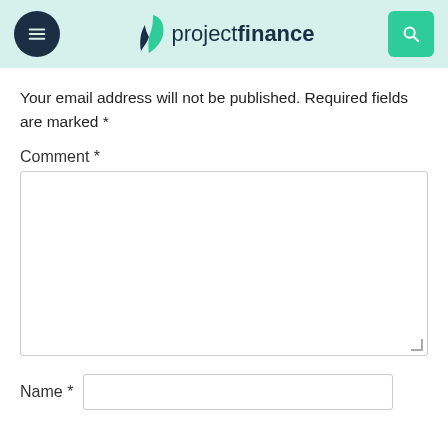projectfinance
Your email address will not be published. Required fields are marked *
Comment *
Name *